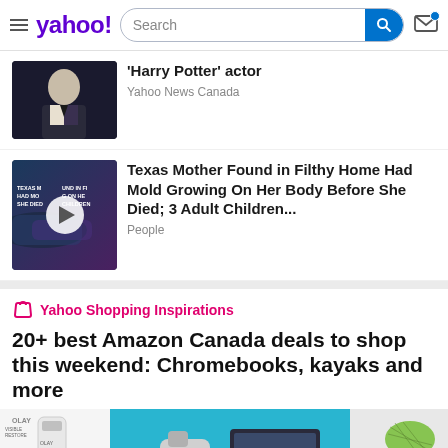yahoo! — Search bar — Mail icon
'Harry Potter' actor
Yahoo News Canada
Texas Mother Found in Filthy Home Had Mold Growing On Her Body Before She Died; 3 Adult Children...
People
Yahoo Shopping Inspirations
20+ best Amazon Canada deals to shop this weekend: Chromebooks, kayaks and more